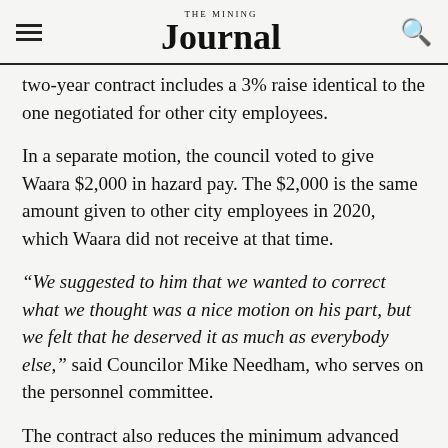THE MINING Journal
two-year contract includes a 3% raise identical to the one negotiated for other city employees.
In a separate motion, the council voted to give Waara $2,000 in hazard pay. The $2,000 is the same amount given to other city employees in 2020, which Waara did not receive at that time.
“We suggested to him that we wanted to correct what we thought was a nice motion on his part, but we felt that he deserved it as much as everybody else,” said Councilor Mike Needham, who serves on the personnel committee.
The contract also reduces the minimum advanced